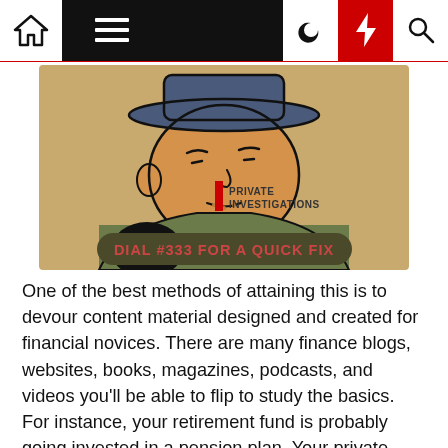Navigation bar with home, menu, moon, lightning, and search icons
[Figure (illustration): Illustrated cartoon-style image of a man wearing a hat, with text 'PRIVATE INVESTIGATIONS' and 'DIAL #333 FOR A QUICK FIX' on a tan/olive background]
One of the best methods of attaining this is to devour content material designed and created for financial novices. There are many finance blogs, websites, books, magazines, podcasts, and videos you'll be able to flip to study the basics. For instance, your retirement fund is probably going invested in a pension plan. Your private funding portfolio is likely